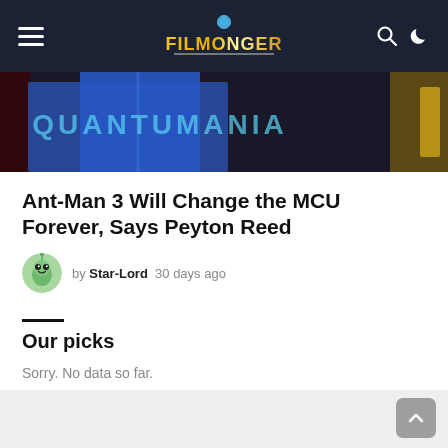Filmonger
[Figure (photo): Hero image showing a figure in a blue suit with stylized text/logo in the background, dark cinematic scene]
Ant-Man 3 Will Change the MCU Forever, Says Peyton Reed
by Star-Lord  30 days ago
Our picks
Sorry. No data so far.